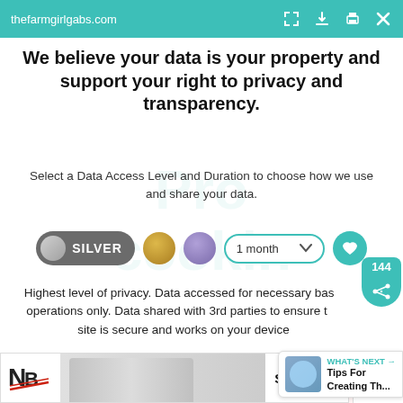thefarmgirlgabs.com
We believe your data is your property and support your right to privacy and transparency.
Select a Data Access Level and Duration to choose how we use and share your data.
[Figure (infographic): Privacy level selector row with Silver toggle button, gold circle, purple circle, 1 month dropdown, heart icon button, and share badge showing 144]
Highest level of privacy. Data accessed for necessary basic operations only. Data shared with 3rd parties to ensure the site is secure and works on your device
[Figure (infographic): What's Next panel showing thumbnail and text 'Tips For Creating Th...']
Save my preferences
[Figure (infographic): New Balance advertisement banner with shoes image and Shop now button]